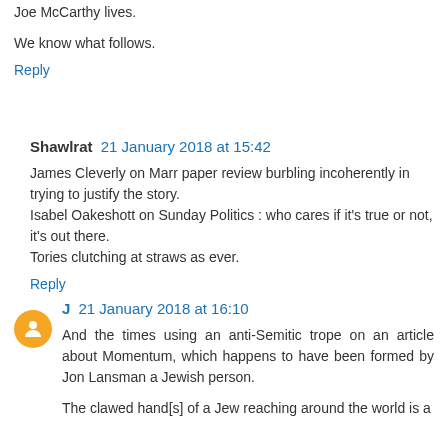Joe McCarthy lives.
We know what follows.
Reply
Shawlrat  21 January 2018 at 15:42
James Cleverly on Marr paper review burbling incoherently in trying to justify the story.
Isabel Oakeshott on Sunday Politics : who cares if it's true or not, it's out there.
Tories clutching at straws as ever.
Reply
J  21 January 2018 at 16:10
And the times using an anti-Semitic trope on an article about Momentum, which happens to have been formed by Jon Lansman a Jewish person.
The clawed hand[s] of a Jew reaching around the world is a